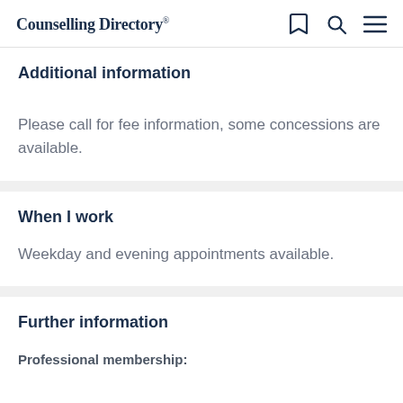Counselling Directory
Additional information
Please call for fee information, some concessions are available.
When I work
Weekday and evening appointments available.
Further information
Professional membership: